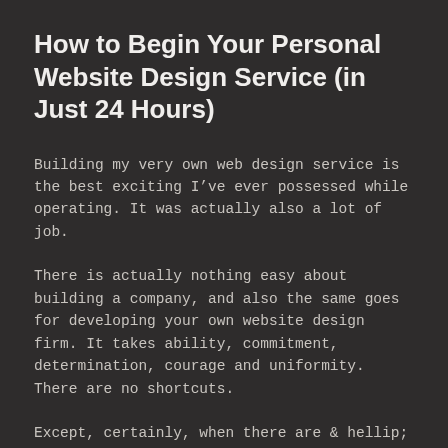How to Begin Your Personal Website Design Service (in Just 24 Hours)
Building my very own web design service is the best exciting I’ve ever possessed while operating. It was actually also a lot of job.
There is actually nothing easy about building a company, and also the same goes for developing your own website design firm. It takes ability, commitment, determination, courage and uniformity. There are no shortcuts.
Except, certainly, when there are & hellip;
I’m heading to provide you a number of those